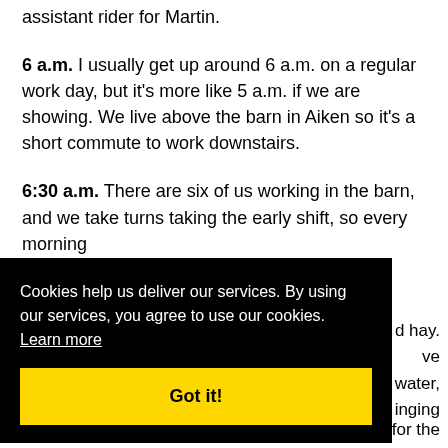assistant rider for Martin.
6 a.m. I usually get up around 6 a.m. on a regular work day, but it's more like 5 a.m. if we are showing. We live above the barn in Aiken so it's a short commute to work downstairs.
6:30 a.m. There are six of us working in the barn, and we take turns taking the early shift, so every morning [partially obscured] d hay. [partially obscured] ve [partially obscured] water, [partially obscured] inging
[Figure (screenshot): Cookie consent banner overlay with black background. Text reads: 'Cookies help us deliver our services. By using our services, you agree to use our cookies. Learn more' with a yellow 'Got it!' button below.]
[partially obscured] for the